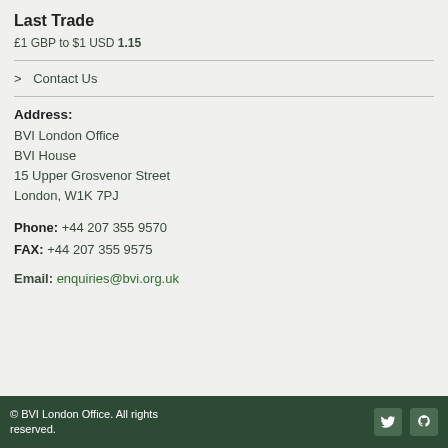Last Trade
£1 GBP to $1 USD 1.15
> Contact Us
Address:
BVI London Office
BVI House
15 Upper Grosvenor Street
London, W1K 7PJ
Phone: +44 207 355 9570
FAX: +44 207 355 9575
Email: enquiries@bvi.org.uk
© BVI London Office. All rights reserved.